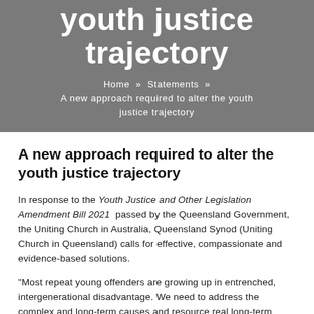youth justice trajectory
Home » Statements » A new approach required to alter the youth justice trajectory
A new approach required to alter the youth justice trajectory
In response to the Youth Justice and Other Legislation Amendment Bill 2021 passed by the Queensland Government, the Uniting Church in Australia, Queensland Synod (Uniting Church in Queensland) calls for effective, compassionate and evidence-based solutions.
"Most repeat young offenders are growing up in entrenched, intergenerational disadvantage. We need to address the complex and long-term causes and resource real long-term solutions." said the Moderator of the Uniting Church in Queensland, Rev Andrew Gunton.